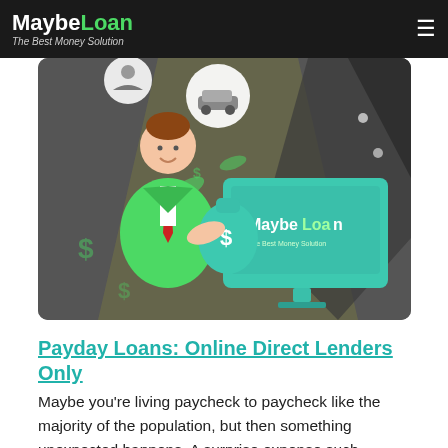MaybeLoan — The Best Money Solution
[Figure (illustration): Cartoon illustration of a man in a green suit receiving a money bag with a dollar sign, seated at a desk with a MaybeLoan branded computer monitor. Circular icons float above showing various loan uses (car, person). Dollar signs float in the dark background.]
Payday Loans: Online Direct Lenders Only
Maybe you're living paycheck to paycheck like the majority of the population, but then something unexpected happens. A surprise expense such